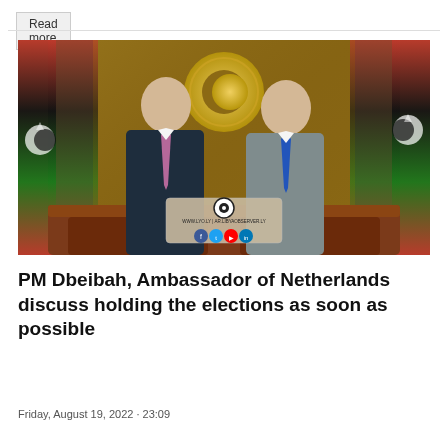Read more
[Figure (photo): Two men in suits standing side by side in an official office with Libyan flags in the background and a gold emblem on the wall behind them. A Libya Observer watermark with social media icons appears at the bottom of the image.]
PM Dbeibah, Ambassador of Netherlands discuss holding the elections as soon as possible
Friday, August 19, 2022 · 23:09